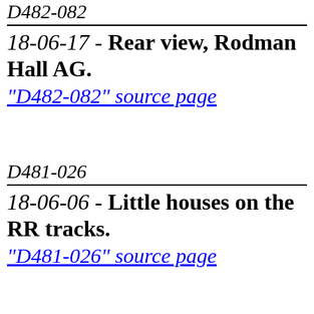D482-082
18-06-17 - Rear view, Rodman Hall AG.
"D482-082" source page
D481-026
18-06-06 - Little houses on the RR tracks.
"D481-026" source page